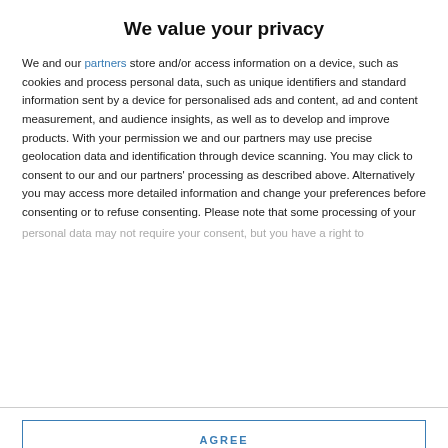We value your privacy
We and our partners store and/or access information on a device, such as cookies and process personal data, such as unique identifiers and standard information sent by a device for personalised ads and content, ad and content measurement, and audience insights, as well as to develop and improve products. With your permission we and our partners may use precise geolocation data and identification through device scanning. You may click to consent to our and our partners' processing as described above. Alternatively you may access more detailed information and change your preferences before consenting or to refuse consenting. Please note that some processing of your personal data may not require your consent, but you have a right to
AGREE
MORE OPTIONS
experienced leader on and off the field.